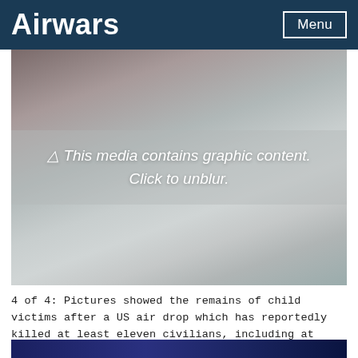Airwars | Menu
[Figure (photo): Blurred graphic image with warning overlay text: '⚠ This media contains graphic content. Click to unblur.']
4 of 4: Pictures showed the remains of child victims after a US air drop which has reportedly killed at least eleven civilians, including at least six children (Image via Shaam)
[Figure (photo): Partially visible image at bottom of page, showing dark blue tones.]